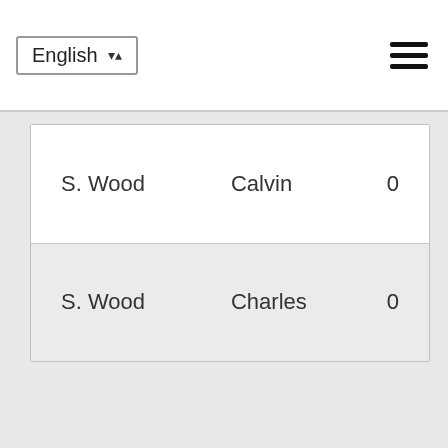English
| S. Wood | Calvin | 0 |
| S. Wood | Charles | 0 |